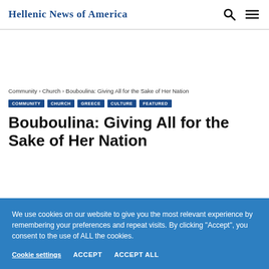Hellenic News of America
Community › Church › Bouboulina: Giving All for the Sake of Her Nation
COMMUNITY
CHURCH
GREECE
CULTURE
FEATURED
Bouboulina:  Giving All for the Sake of Her Nation
We use cookies on our website to give you the most relevant experience by remembering your preferences and repeat visits. By clicking “Accept”, you consent to the use of ALL the cookies.
Cookie settings   ACCEPT   ACCEPT ALL